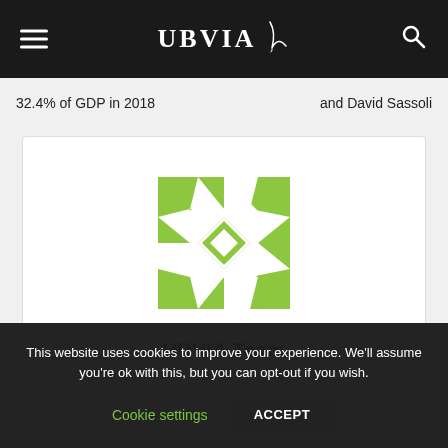UBVIA
32.4% of GDP in 2018
and David Sassoli
[Figure (logo): UBVIA geometric quilt-pattern logo in green and white, square shape composed of triangles and diamond shapes]
UBVIA Team
This website uses cookies to improve your experience. We'll assume you're ok with this, but you can opt-out if you wish.
Cookie settings
ACCEPT